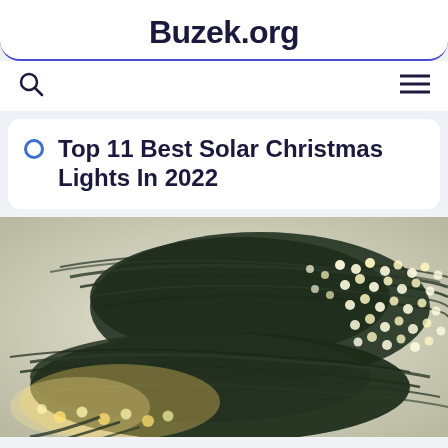Buzek.org
Top 11 Best Solar Christmas Lights In 2022
[Figure (photo): A bundle of solar-powered Christmas string lights with warm white LED bulbs on dark green wire, coiled and bundled together against a light background.]